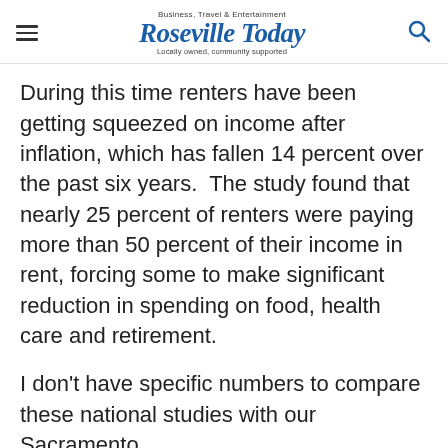Business, Travel & Entertainment Roseville Today Locally owned, community supported
During this time renters have been getting squeezed on income after inflation, which has fallen 14 percent over the past six years.  The study found that nearly 25 percent of renters were paying more than 50 percent of their income in rent, forcing some to make significant reduction in spending on food, health care and retirement.
I don't have specific numbers to compare these national studies with our Sacramento